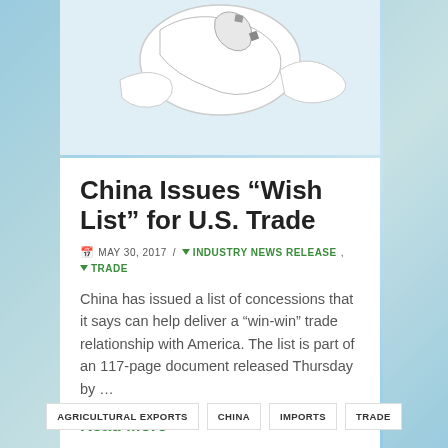[Figure (photo): Top portion showing stylized paper/clay map and globe shapes (white/gray) against a light background]
China Issues “Wish List” for U.S. Trade
MAY 30, 2017 / INDUSTRY NEWS RELEASE, TRADE
China has issued a list of concessions that it says can help deliver a “win-win” trade relationship with America. The list is part of an 117-page document released Thursday by …
Read More
AGRICULTURAL EXPORTS   CHINA   IMPORTS   TRADE